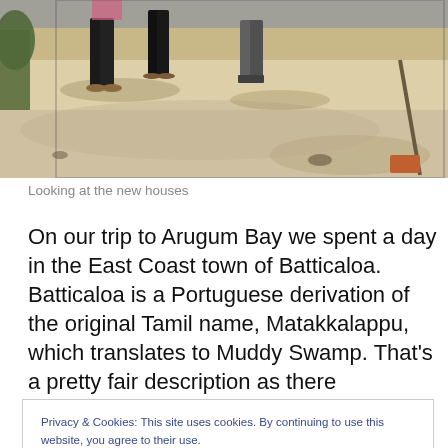[Figure (photo): Photo of people standing on sandy ground, looking at new houses. Lower legs and feet of people visible. Sandy area with shadows cast on the ground.]
Looking at the new houses
On our trip to Arugum Bay we spent a day in the East Coast town of Batticaloa. Batticaloa is a Portuguese derivation of the original Tamil name, Matakkalappu, which translates to Muddy Swamp. That's a pretty fair description as there
Privacy & Cookies: This site uses cookies. By continuing to use this website, you agree to their use.
To find out more, including how to control cookies, see here: Cookie Policy